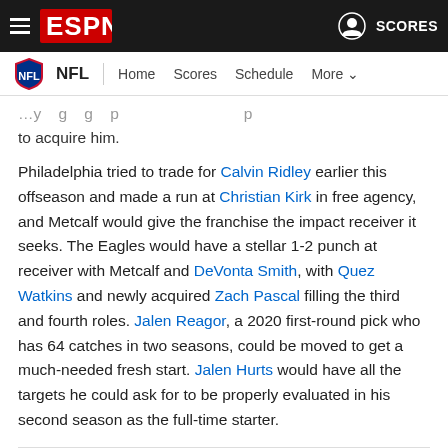ESPN — NFL | Home | Scores | Schedule | More
to acquire him.
Philadelphia tried to trade for Calvin Ridley earlier this offseason and made a run at Christian Kirk in free agency, and Metcalf would give the franchise the impact receiver it seeks. The Eagles would have a stellar 1-2 punch at receiver with Metcalf and DeVonta Smith, with Quez Watkins and newly acquired Zach Pascal filling the third and fourth roles. Jalen Reagor, a 2020 first-round pick who has 64 catches in two seasons, could be moved to get a much-needed fresh start. Jalen Hurts would have all the targets he could ask for to be properly evaluated in his second season as the full-time starter.